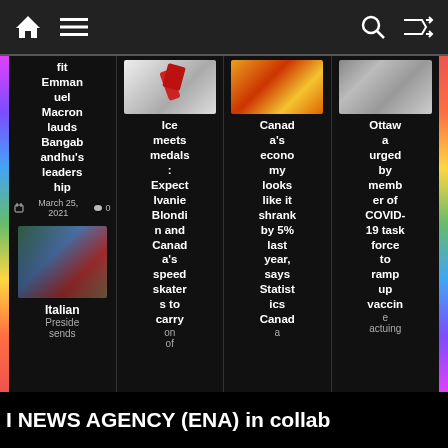Navigation bar with home, menu, search, and shuffle icons
fit Emmanuel Macron lauds Bangabandhu's leadership
March 25, 2021  0
[Figure (photo): Ice skater image]
Ice meets medals : Expect Ivanie Blondin and Canada's speed skaters to carry on
[Figure (photo): Canada economy image]
Canada's economy looks like it shrank by 5% last year, says Statistics Canad
[Figure (photo): Ottawa/boxes image]
Ottawa urged by member of COVID-19 task force to ramp up vaccin
[Figure (photo): Italian President photo]
Italian Preside sends
I NEWS AGENCY (ENA) in collab
on of actuing